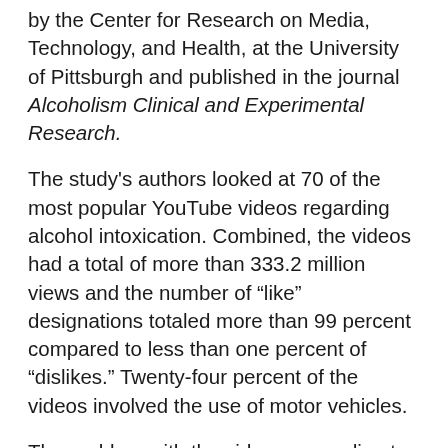by the Center for Research on Media, Technology, and Health, at the University of Pittsburgh and published in the journal Alcoholism Clinical and Experimental Research.
The study's authors looked at 70 of the most popular YouTube videos regarding alcohol intoxication. Combined, the videos had a total of more than 333.2 million views and the number of “like” designations totaled more than 99 percent compared to less than one percent of “dislikes.” Twenty-four percent of the videos involved the use of motor vehicles.
The problem with the videos, according to the researchers, is that the videos portray alcohol use in a funny or glamorous way without showing any of the negative aspects of alcohol abuse. Negative aspects of alcohol use include, but aren’t limited to; vomiting, sexual